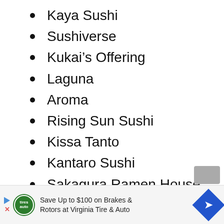Kaya Sushi
Sushiverse
Kukai’s Offering
Laguna
Aroma
Rising Sun Sushi
Kissa Tanto
Kantaro Sushi
Sakagura Ramen House
Maho sushi
Sushi Al Dente
Save Up to $100 on Brakes & Rotors at Virginia Tire & Auto